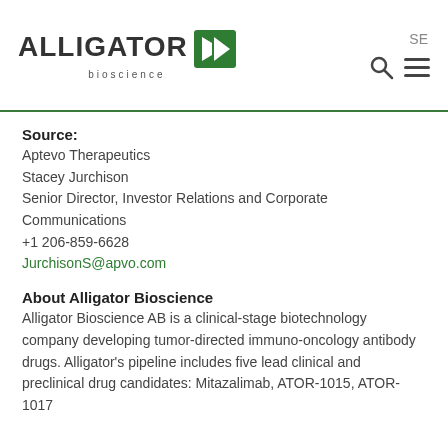[Figure (logo): Alligator Bioscience logo with green arrow chevron icon and 'bioscience' subtext]
SE
Source:
Aptevo Therapeutics
Stacey Jurchison
Senior Director, Investor Relations and Corporate Communications
+1 206-859-6628
JurchisonS@apvo.com
About Alligator Bioscience
Alligator Bioscience AB is a clinical-stage biotechnology company developing tumor-directed immuno-oncology antibody drugs. Alligator's pipeline includes five lead clinical and preclinical drug candidates: Mitazalimab, ATOR-1015, ATOR-1017